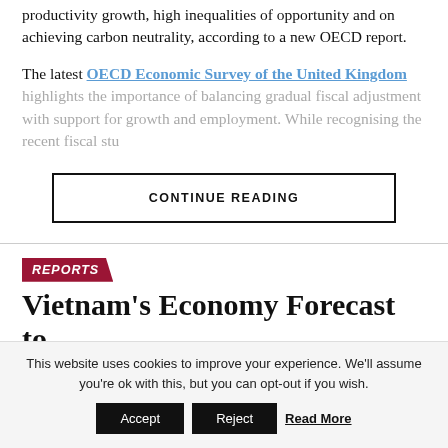productivity growth, high inequalities of opportunity and on achieving carbon neutrality, according to a new OECD report.
The latest OECD Economic Survey of the United Kingdom highlights the importance of balancing gradual fiscal adjustment with support for growth and employment. While recognising the recent fiscal…
CONTINUE READING
REPORTS
Vietnam's Economy Forecast to Grow 5% in 2025
This website uses cookies to improve your experience. We'll assume you're ok with this, but you can opt-out if you wish.
Accept   Reject   Read More